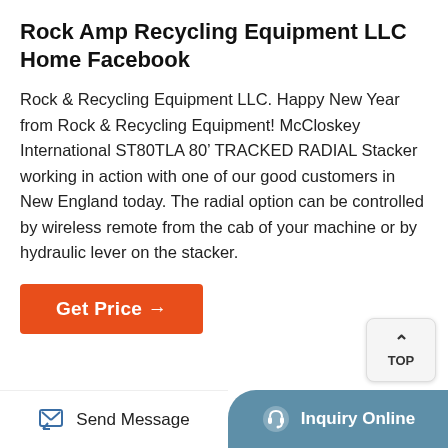Rock Amp Recycling Equipment LLC Home Facebook
Rock & Recycling Equipment LLC. Happy New Year from Rock & Recycling Equipment! McCloskey International ST80TLA 80' TRACKED RADIAL Stacker working in action with one of our good customers in New England today. The radial option can be controlled by wireless remote from the cab of your machine or by hydraulic lever on the stacker.
[Figure (other): Orange 'Get Price →' button]
[Figure (photo): Close-up photo of industrial pulleys/wheels with red rubber rims against a dark background]
Send Message   Inquiry Online